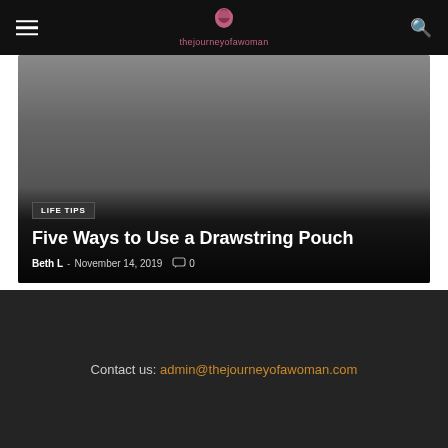thejourneyofawoman
[Figure (screenshot): Hero image area with gradient overlay showing blog post card]
LIFE TIPS
Five Ways to Use a Drawstring Pouch
Beth L - November 14, 2019  0
Contact us: admin@thejourneyofawoman.com